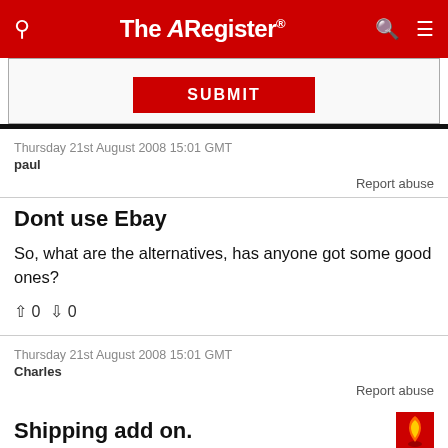The Register
SUBMIT
Thursday 21st August 2008 15:01 GMT
paul
Report abuse
Dont use Ebay
So, what are the alternatives, has anyone got some good ones?
↑0  ↓0
Thursday 21st August 2008 15:01 GMT
Charles
Report abuse
Shipping add on.